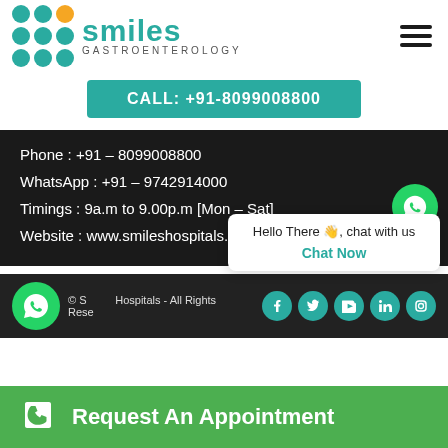[Figure (logo): Smiles Gastroenterology logo with teal dot grid and yellow accent dot]
CALL: +91-8099008800
Phone : +91 – 8099008800
WhatsApp : +91 – 9742914000
Timings : 9a.m to 9.00p.m [Mon – Sat]
Website : www.smileshospitals.com
© Smiles Hospitals - All Rights Reserved
Hello There 👋, chat with us
Chat Now
Request An Appointment